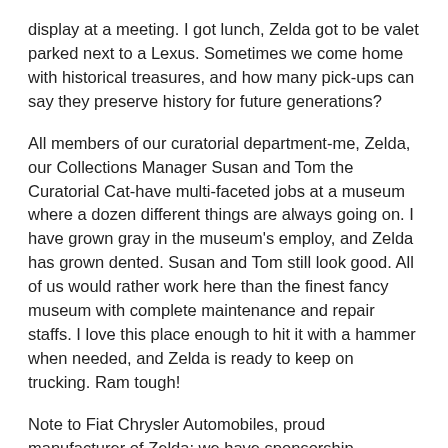display at a meeting. I got lunch, Zelda got to be valet parked next to a Lexus. Sometimes we come home with historical treasures, and how many pick-ups can say they preserve history for future generations?
All members of our curatorial department-me, Zelda, our Collections Manager Susan and Tom the Curatorial Cat-have multi-faceted jobs at a museum where a dozen different things are always going on. I have grown gray in the museum's employ, and Zelda has grown dented. Susan and Tom still look good. All of us would rather work here than the finest fancy museum with complete maintenance and repair staffs. I love this place enough to hit it with a hammer when needed, and Zelda is ready to keep on trucking. Ram tough!
Note to Fiat Chrysler Automobiles, proud manufacturer of Zelda: we have sponsorship opportunities available. Call soon.